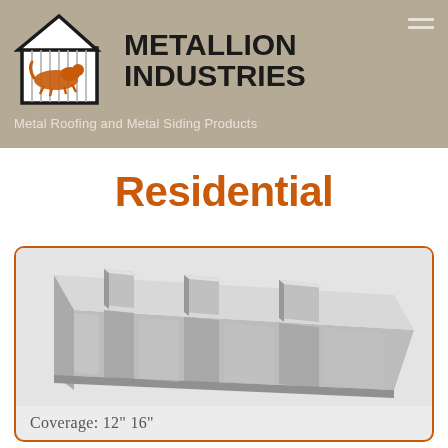[Figure (logo): Metallion Industries logo: a building/house outline with vertical metal siding lines and an orange cheetah/panther running, next to bold text METALLION INDUSTRIES]
Metal Roofing and Metal Siding Products
Residential
[Figure (photo): 3D rendering of a metal roofing panel with standing seams, shown in gray/silver color at an angle, displaying the panel profile]
Coverage: 12"  16"